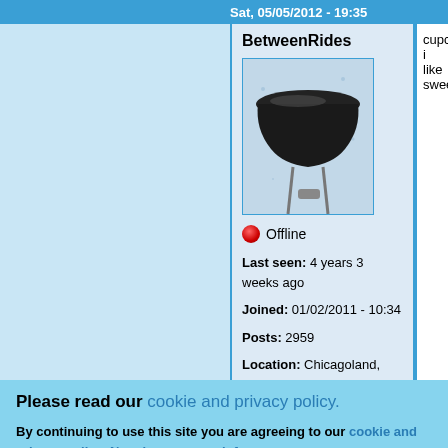Sat, 05/05/2012 - 19:35
BetweenRides
[Figure (photo): Bicycle saddle/seat on a post against a light background]
Offline
Last seen: 4 years 3 weeks ago
Joined: 01/02/2011 - 10:34
Posts: 2959
Location: Chicagoland, USA
cupcake i like sweet
Please read our cookie and privacy policy.
By continuing to use this site you are agreeing to our cookie and privacy policy. No, give me more info
OK, I agree